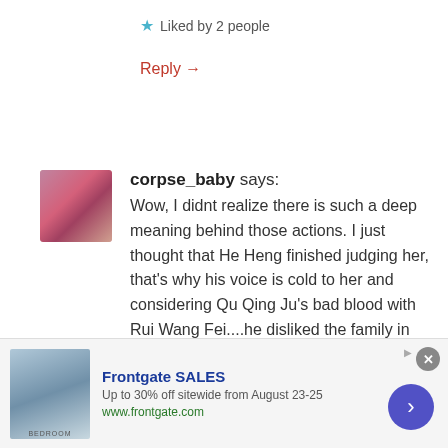★ Liked by 2 people
Reply →
corpse_baby says:
Wow, I didnt realize there is such a deep meaning behind those actions. I just thought that He Heng finished judging her, that's why his voice is cold to her and considering Qu Qing Ju's bad blood with Rui Wang Fei....he disliked the family in general. I still need to learn how to read between the lines huh Q.o
[Figure (photo): Small avatar thumbnail of user corpse_baby with pink hair]
Frontgate SALES
Up to 30% off sitewide from August 23-25
www.frontgate.com